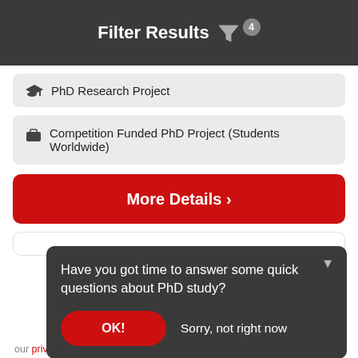Filter Results 4
PhD Research Project
Competition Funded PhD Project (Students Worldwide)
More Details >
Have you got time to answer some quick questions about PhD study?
OK!
Sorry, not right now
our privacy policy